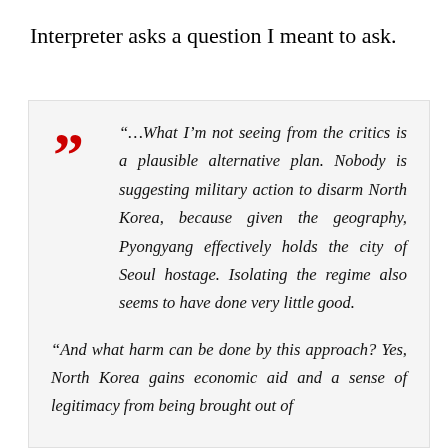Interpreter asks a question I meant to ask.
“…What I’m not seeing from the critics is a plausible alternative plan. Nobody is suggesting military action to disarm North Korea, because given the geography, Pyongyang effectively holds the city of Seoul hostage. Isolating the regime also seems to have done very little good.

“And what harm can be done by this approach? Yes, North Korea gains economic aid and a sense of legitimacy from being brought out of